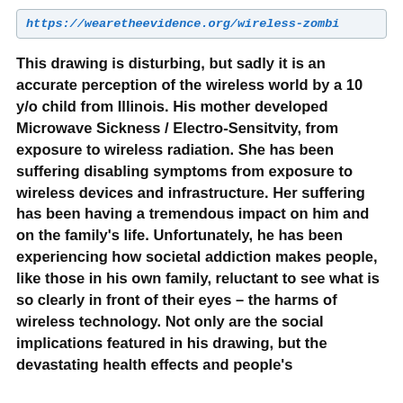https://wearetheevidence.org/wireless-zombi
This drawing is disturbing, but sadly it is an accurate perception of the wireless world by a 10 y/o child from Illinois. His mother developed Microwave Sickness / Electro-Sensitvity, from exposure to wireless radiation. She has been suffering disabling symptoms from exposure to wireless devices and infrastructure. Her suffering has been having a tremendous impact on him and on the family’s life. Unfortunately, he has been experiencing how societal addiction makes people, like those in his own family, reluctant to see what is so clearly in front of their eyes – the harms of wireless technology. Not only are the social implications featured in his drawing, but the devastating health effects and people’s